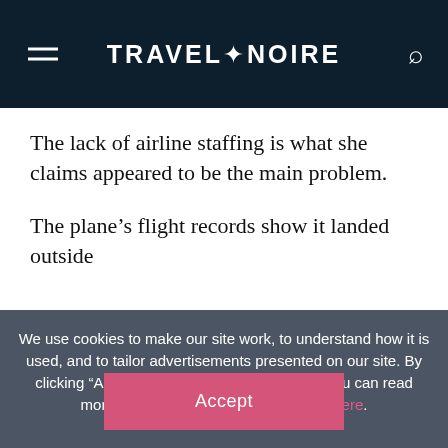TRAVEL+NOIRE
The lack of airline staffing is what she claims appeared to be the main problem.
The plane's flight records show it landed outside
We use cookies to make our site work, to understand how it is used, and to tailor advertisements presented on our site. By clicking “Accept”, you agree to us doing so. You can read more by clicking on our privacy policy here.
Accept